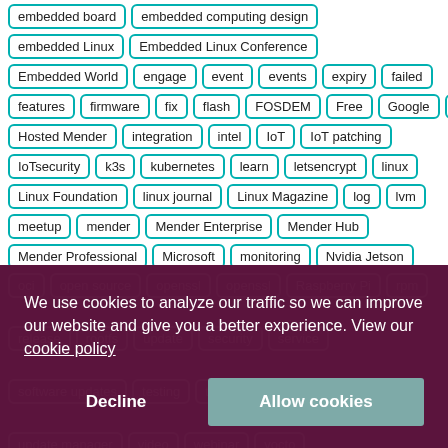embedded board
embedded computing design
embedded Linux
Embedded Linux Conference
Embedded World
engage
event
events
expiry
failed
features
firmware
fix
flash
FOSDEM
Free
Google
Grant
Hosted Mender
integration
intel
IoT
IoT patching
IoTsecurity
k3s
kubernetes
learn
letsencrypt
linux
Linux Foundation
linux journal
Linux Magazine
log
lvm
meetup
mender
Mender Enterprise
Mender Hub
Mender Professional
Microsoft
monitoring
Nvidia Jetson
We use cookies to analyze our traffic so we can improve our website and give you a better experience. View our cookie policy
Decline
Allow cookies